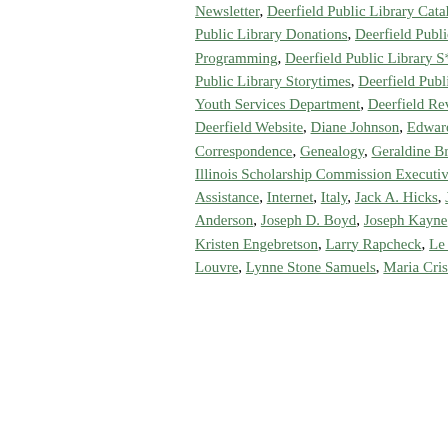Newsletter, Deerfield Public Library Catalog, Deerfield Public Library Century Readers Club, Deerfield Public Library Donations, Deerfield Public Library Mission Statement, Deerfield Public Library Programming, Deerfield Public Library S*T*A*R Volunteers, Deerfield Public Library Staff, Deerfield Public Library Storytimes, Deerfield Public Library Summer Reading Programs, Deerfield Public Library Youth Services Department, Deerfield Review, Deerfield Rotary Club, Deerfield School District #109, Deerfield Website, Diane Johnson, Edward Gorey, Emile Renouf, Emma Soren, Eva Kerrigan, Foreign Correspondence, Genealogy, Geraldine Brooks, Greece, Ilana Strauss, Illinois Scholarship Commission, Illinois Scholarship Commission Executive Director, Illinois Telephone Books Dontech Archive, Income Tax Assistance, Internet, Italy, Jack A. Hicks, Jeanne Brunk, Jeff Fredrikson, Jennifer Armstrong, John A. Anderson, Joseph D. Boyd, Joseph Kayne, July 4th Activities, Karen Sittig, Kenan Abosch, Kimberly Allen, Kristen Engebretson, Larry Rapcheck, Le Divorce, Leigh Courtney, Longin Galockin, Louis de Bernieres, Louvre, Lynne Stone Samuels, Maria Crist, Martin Dressler The Tale of an American Dreamer,